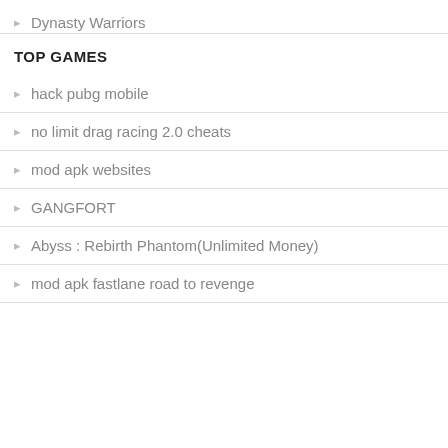Dynasty Warriors
TOP GAMES
hack pubg mobile
no limit drag racing 2.0 cheats
mod apk websites
GANGFORT
Abyss : Rebirth Phantom(Unlimited Money)
mod apk fastlane road to revenge